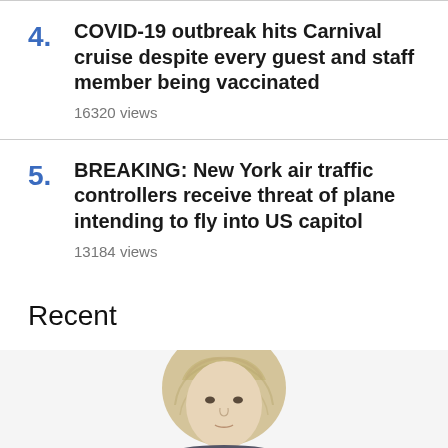4. COVID-19 outbreak hits Carnival cruise despite every guest and staff member being vaccinated — 16320 views
5. BREAKING: New York air traffic controllers receive threat of plane intending to fly into US capitol — 13184 views
Recent
[Figure (photo): Partial photo of a person with light/blonde hair, cropped at the bottom of the page]